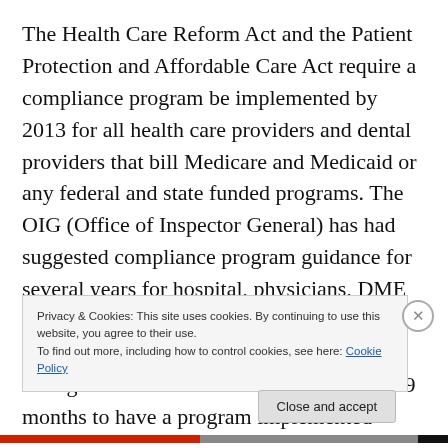The Health Care Reform Act and the Patient Protection and Affordable Care Act require a compliance program be implemented by 2013 for all health care providers and dental providers that bill Medicare and Medicaid or any federal and state funded programs. The OIG (Office of Inspector General) has had suggested compliance program guidance for several years for hospital, physicians, DME and home health. I would recommend health care providers start planning by using these OIG guidelines because it will take at least 9 months to have a program implemented completely. A compliance program
Privacy & Cookies: This site uses cookies. By continuing to use this website, you agree to their use.
To find out more, including how to control cookies, see here: Cookie Policy